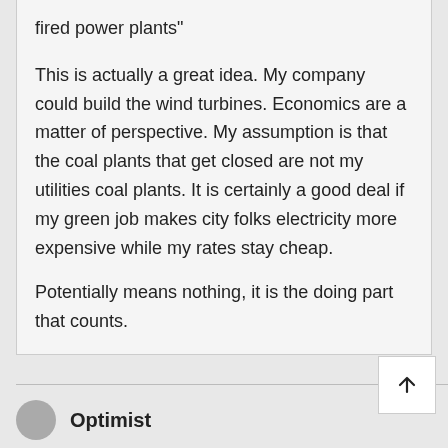fired power plants"
This is actually a great idea. My company could build the wind turbines. Economics are a matter of perspective. My assumption is that the coal plants that get closed are not my utilities coal plants. It is certainly a good deal if my green job makes city folks electricity more expensive while my rates stay cheap.
Potentially means nothing, it is the doing part that counts.
Optimist